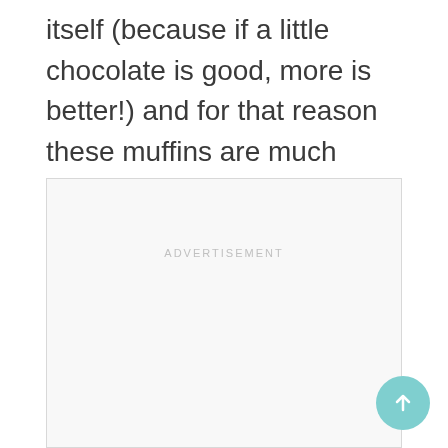itself (because if a little chocolate is good, more is better!) and for that reason these muffins are much better enjoyed right out of the oven while there are still puddles of warm, melty chocolate hidden inside.
[Figure (other): Advertisement placeholder box with 'ADVERTISEMENT' label centered at top and a circular teal scroll-to-top arrow button in the bottom right corner]